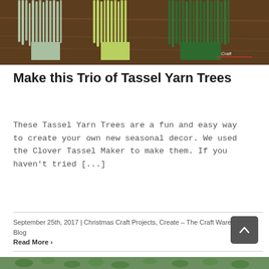[Figure (photo): Photo of three tassel yarn trees in light sage green, yellow-green, and dark forest green colors, displayed on a wooden surface. A watermark reading 'Craft' with a red underline is visible in the lower right.]
Make this Trio of Tassel Yarn Trees
These Tassel Yarn Trees are a fun and easy way to create your own new seasonal decor. We used the Clover Tassel Maker to make them. If you haven't tried [...]
September 25th, 2017 | Christmas Craft Projects, Create – The Craft Warehouse Blog
Read More ›
[Figure (photo): Partial photo strip at the bottom showing green leafy plants, partially cut off.]